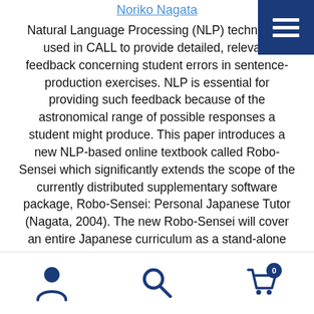Noriko Nagata
Natural Language Processing (NLP) technology used in CALL to provide detailed, relevant feedback concerning student errors in sentence-production exercises. NLP is essential for providing such feedback because of the astronomical range of possible responses a student might produce. This paper introduces a new NLP-based online textbook called Robo-Sensei which significantly extends the scope of the currently distributed supplementary software package, Robo-Sensei: Personal Japanese Tutor (Nagata, 2004). The new Robo-Sensei will cover an entire Japanese curriculum as a stand-alone textbook. I describe each component, illustrate the variety of NLP-based exercises presented, and discuss the benefits of
[Figure (other): Navigation menu button (hamburger icon) — dark blue square with three white horizontal lines, top-right corner]
Bottom navigation bar with user icon, search icon, and shopping cart icon with badge showing 0